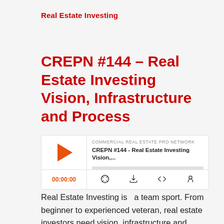Real Estate Investing
CREPN #144 – Real Estate Investing Vision, Infrastructure and Process
[Figure (other): Podcast audio player widget for 'CREPN #144 - Real Estate Investing Vision,...' by Commercial Real Estate Pro Network. Shows play button, progress bar, time 00:00:00, and control icons for subscribe, download, embed, and more.]
Real Estate Investing is  a team sport. From beginner to experienced veteran, real estate investors need vision, infrastructure and process to